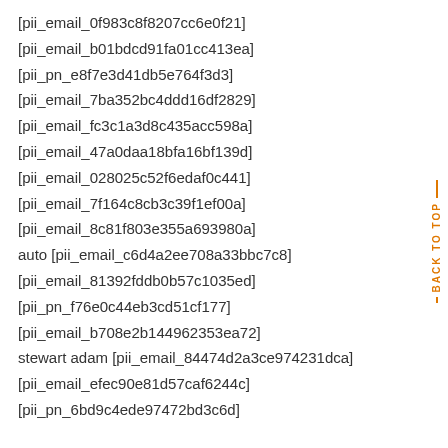[pii_email_0f983c8f8207cc6e0f21]
[pii_email_b01bdcd91fa01cc413ea]
[pii_pn_e8f7e3d41db5e764f3d3]
[pii_email_7ba352bc4ddd16df2829]
[pii_email_fc3c1a3d8c435acc598a]
[pii_email_47a0daa18bfa16bf139d]
[pii_email_028025c52f6edaf0c441]
[pii_email_7f164c8cb3c39f1ef00a]
[pii_email_8c81f803e355a693980a]
auto [pii_email_c6d4a2ee708a33bbc7c8]
[pii_email_81392fddb0b57c1035ed]
[pii_pn_f76e0c44eb3cd51cf177]
[pii_email_b708e2b144962353ea72]
stewart adam [pii_email_84474d2a3ce974231dca]
[pii_email_efec90e81d57caf6244c]
[pii_pn_6bd9c4ede97472bd3c6d]